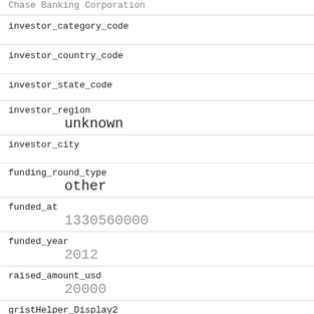investor_category_code
investor_country_code
investor_state_code
investor_region
unknown
investor_city
funding_round_type
other
funded_at
1330560000
funded_year
2012
raised_amount_usd
20000
gristHelper_Display2
/company/domino-street